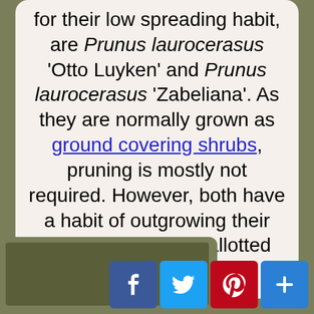for their low spreading habit, are Prunus laurocerasus 'Otto Luyken' and Prunus laurocerasus 'Zabeliana'. As they are normally grown as ground covering shrubs, pruning is mostly not required. However, both have a habit of outgrowing their original location or allotted space as they mature.
[Figure (other): Social sharing buttons: Facebook (blue), Twitter (light blue), Pinterest (dark red), and a plus/add button (blue)]